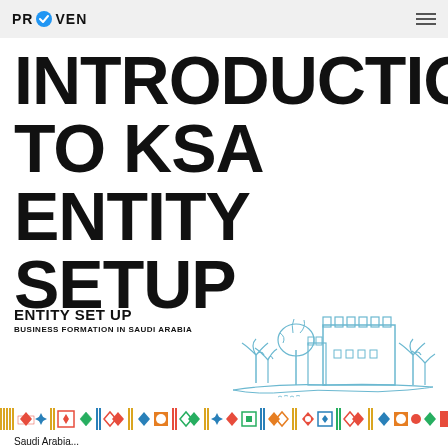PROVEN
INTRODUCTION TO KSA ENTITY SETUP
ENTITY SET UP
BUSINESS FORMATION IN SAUDI ARABIA
[Figure (illustration): Hand-drawn sketch illustration of a Saudi Arabian desert scene with a fortified building/castle, palm trees, and a large tree in blue ink line art style]
[Figure (infographic): Decorative pattern strip with colorful geometric shapes and patterns in red, yellow, blue, green colors — traditional Middle Eastern/Islamic geometric border decoration]
Saudi Arabia...